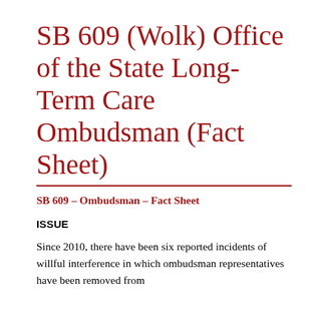SB 609 (Wolk) Office of the State Long-Term Care Ombudsman (Fact Sheet)
SB 609 – Ombudsman – Fact Sheet
ISSUE
Since 2010, there have been six reported incidents of willful interference in which ombudsman representatives have been removed from